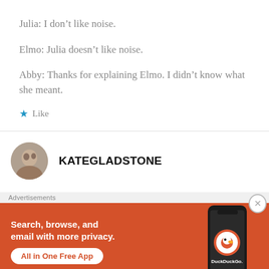Julia: I don’t like noise.
Elmo: Julia doesn’t like noise.
Abby: Thanks for explaining Elmo. I didn’t know what she meant.
★ Like
KATEGLADSTONE
Advertisements
[Figure (screenshot): DuckDuckGo advertisement banner with orange background. Text reads 'Search, browse, and email with more privacy. All in One Free App'. Shows a phone with DuckDuckGo logo.]